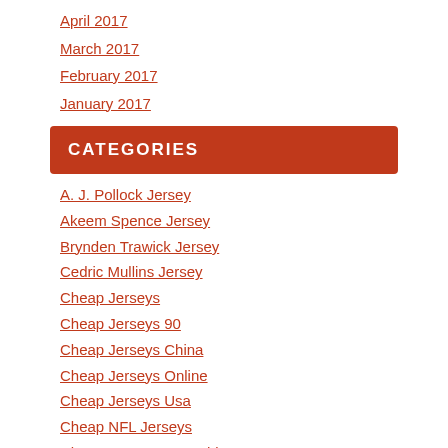April 2017
March 2017
February 2017
January 2017
CATEGORIES
A. J. Pollock Jersey
Akeem Spence Jersey
Brynden Trawick Jersey
Cedric Mullins Jersey
Cheap Jerseys
Cheap Jerseys 90
Cheap Jerseys China
Cheap Jerseys Online
Cheap Jerseys Usa
Cheap NFL Jerseys
Cheap NFL Jerseys China
Cheap NFL Jerseys Free Shipping
Cheap NFL Jerseys From China
Cheap NFL Jerseys Nike